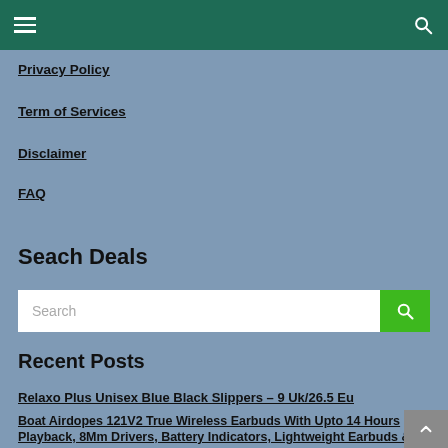Navigation header bar with hamburger menu and search icon
Privacy Policy
Term of Services
Disclaimer
FAQ
Seach Deals
Search
Recent Posts
Relaxo Plus Unisex Blue Black Slippers – 9 Uk/26.5 Eu
Boat Airdopes 121V2 True Wireless Earbuds With Upto 14 Hours Playback, 8Mm Drivers, Battery Indicators, Lightweight Earbuds & Multifunction Controls(Active Black)